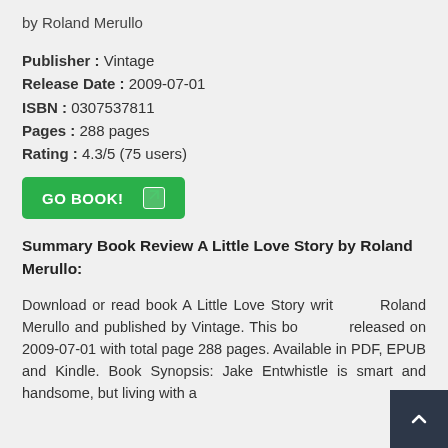by Roland Merullo
Publisher : Vintage
Release Date : 2009-07-01
ISBN : 0307537811
Pages : 288 pages
Rating : 4.3/5 (75 users)
[Figure (other): Green 'GO BOOK!' button with arrow icon]
Summary Book Review A Little Love Story by Roland Merullo:
Download or read book A Little Love Story written by Roland Merullo and published by Vintage. This book was released on 2009-07-01 with total page 288 pages. Available in PDF, EPUB and Kindle. Book Synopsis: Jake Entwhistle is smart and handsome, but living with a